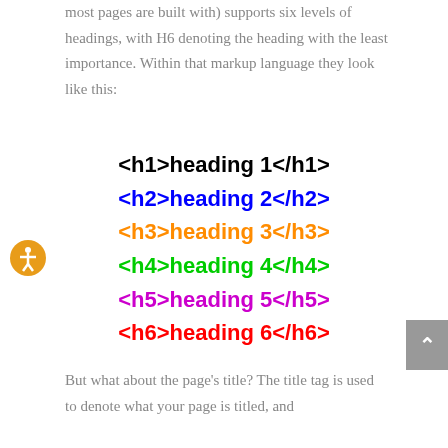most pages are built with) supports six levels of headings, with H6 denoting the heading with the least importance. Within that markup language they look like this:
[Figure (illustration): Display of HTML heading tags h1 through h6 in different colors: h1 black, h2 blue, h3 orange, h4 green, h5 magenta, h6 red, all bold.]
But what about the page's title? The title tag is used to denote what your page is titled, and